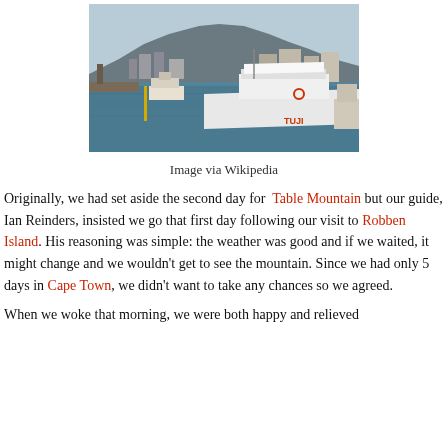[Figure (photo): A harbor scene with boats docked at a waterfront, mountains visible in the background, likely Cape Town's V&A Waterfront with Table Mountain behind.]
Image via Wikipedia
Originally, we had set aside the second day for Table Mountain but our guide, Ian Reinders, insisted we go that first day following our visit to Robben Island. His reasoning was simple: the weather was good and if we waited, it might change and we wouldn't get to see the mountain. Since we had only 5 days in Cape Town, we didn't want to take any chances so we agreed.
When we woke that morning, we were both happy and relieved